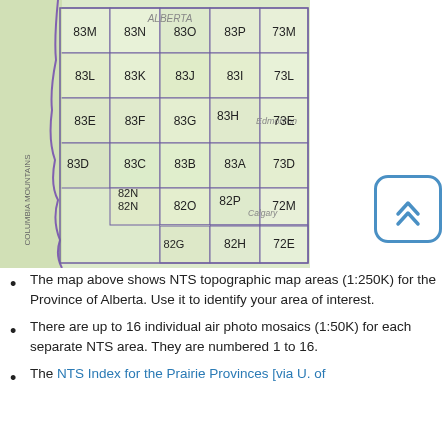[Figure (map): NTS topographic map areas (1:250K) for the Province of Alberta showing grid squares labeled with codes like 83M, 83N, 83O, 83P, 73M, 83L, 83K, 83J, 83I, 73L, 83E, 83F, 83G, 83H, 73E, 83D, 83C, 83B, 83A, 73D, 82N, 82O, 82P, 72M, 82N, 82J, 82I, 72L, 82G, 82H, 72E. Cities labeled: Edmonton, Calgary. Region labeled: Alberta, Columbia Mountains.]
The map above shows NTS topographic map areas (1:250K) for the Province of Alberta. Use it to identify your area of interest.
There are up to 16 individual air photo mosaics (1:50K) for each separate NTS area. They are numbered 1 to 16.
The NTS Index for the Prairie Provinces [via U. of